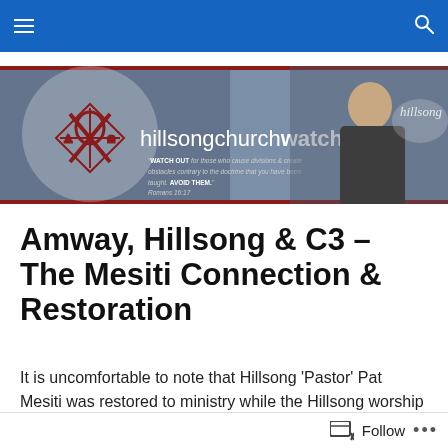hillsongchurchwatch navigation bar
[Figure (photo): Hillsong Church Watch banner showing logo with Chi Rho symbol on left, man in suit speaking into microphone on right, with site name 'hillsongchurchwatch' and scripture quote about watching out for those who cause divisions (Romans 16:17)]
Amway, Hillsong & C3 – The Mesiti Connection & Restoration
It is uncomfortable to note that Hillsong 'Pastor' Pat Mesiti was restored to ministry while the Hillsong worship leader
Follow •••